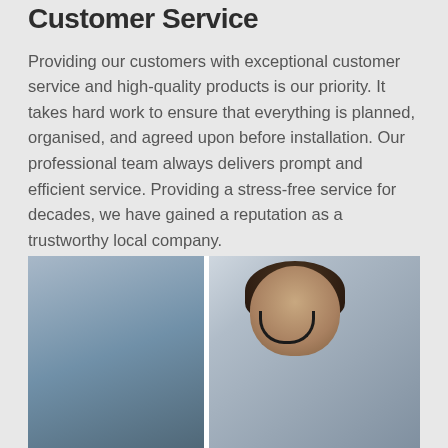Customer Service
Providing our customers with exceptional customer service and high-quality products is our priority. It takes hard work to ensure that everything is planned, organised, and agreed upon before installation. Our professional team always delivers prompt and efficient service. Providing a stress-free service for decades, we have gained a reputation as a trustworthy local company.
[Figure (photo): Two customer service representatives wearing headsets, sitting at workstations. The woman in the foreground on the right is in focus with a headset microphone, and another representative is visible in the background on the left.]